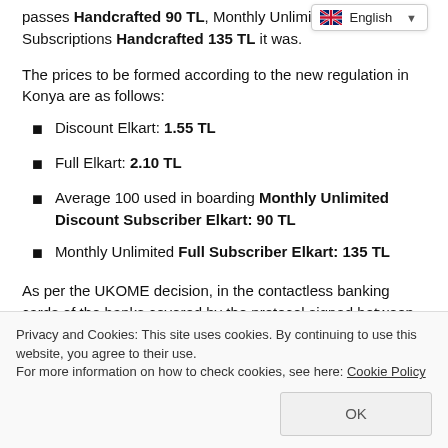passes Handcrafted 90 TL, Monthly Unlimited Subscriptions Handcrafted 135 TL it was.
The prices to be formed according to the new regulation in Konya are as follows:
Discount Elkart: 1.55 TL
Full Elkart: 2.10 TL
Average 100 used in boarding Monthly Unlimited Discount Subscriber Elkart: 90 TL
Monthly Unlimited Full Subscriber Elkart: 135 TL
As per the UKOME decision, in the contactless banking cards of the banks covered by the protocol signed between Konya
Privacy and Cookies: This site uses cookies. By continuing to use this website, you agree to their use. For more information on how to check cookies, see here: Cookie Policy